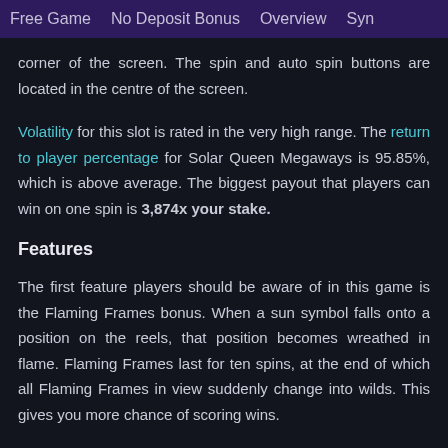Free Game   No Deposit Bonus   Overview   Syn
corner of the screen. The spin and auto spin buttons are located in the centre of the screen.
Volatility for this slot is rated in the very high range. The return to player percentage for Solar Queen Megaways is 95.85%, which is above average. The biggest payout that players can win on one spin is 3,874x your stake.
Features
The first feature players should be aware of in this game is the Flaming Frames bonus. When a sun symbol falls onto a position on the reels, that position becomes wreathed in flame. Flaming Frames last for ten spins, at the end of which all Flaming Frames in view suddenly change into wilds. This gives you more chance of scoring wins.